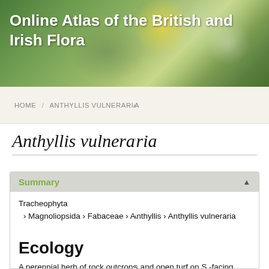[Figure (photo): Green and white floral background photo with bokeh effect showing daisies, used as header banner]
Online Atlas of the British and Irish Flora
HOME / ANTHYLLIS VULNERARIA
Anthyllis vulneraria
Summary
Tracheophyta
  › Magnoliopsida › Fabaceae › Anthyllis › Anthyllis vulneraria
Ecology
A perennial herb of rock outcrops and open turf on S.-facing slopes, on free-draining neutral to base-rich, often calcareous, soils. On the coast it is found